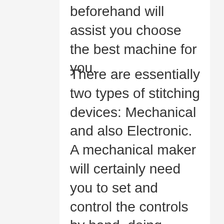beforehand will assist you choose the best machine for you.
There are essentially two types of stitching devices: Mechanical and also Electronic. A mechanical maker will certainly need you to set and control the controls by hand, doing fundamental sewing tasks such as threading the needle, stitch length, hemming, creating buttonholes along with standard maintenance.
An digital sewing equipment will automate a lot of the fundamental features listed above, have actually an easily read LED display, deal features that are not readily available on a mechanical equipment and also relieve the problem of tiresome...